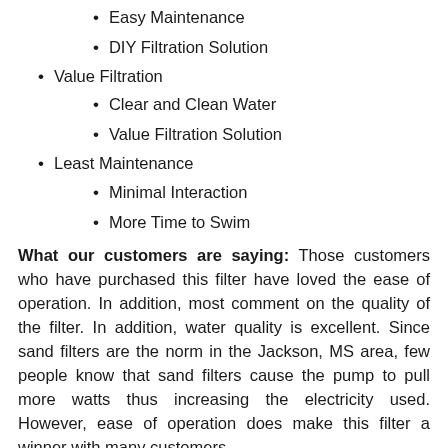Easy Maintenance
DIY Filtration Solution
Value Filtration
Clear and Clean Water
Value Filtration Solution
Least Maintenance
Minimal Interaction
More Time to Swim
What our customers are saying: Those customers who have purchased this filter have loved the ease of operation. In addition, most comment on the quality of the filter. In addition, water quality is excellent. Since sand filters are the norm in the Jackson, MS area, few people know that sand filters cause the pump to pull more watts thus increasing the electricity used. However, ease of operation does make this filter a winner with many customers.
Keep in mind that sand filters need their media cleaned twice yearly. In addition, the media should be completely change approximately every 2-3 years here in the Jackson, MS area.